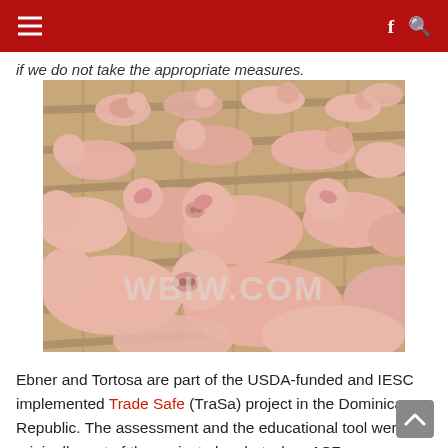≡  f 🔍
if we do not take the appropriate measures.
[Figure (photo): A crowded pen of pink pigs/piglets on a wooden slatted floor, with a WBIW.COM watermark overlaid on the image.]
Ebner and Tortosa are part of the USDA-funded and IESC implemented Trade Safe (TraSa) project in the Dominican Republic. The assessment and the educational tool weren't originally part of the project plan, but when ASF was detected, Ebner and Tortosa